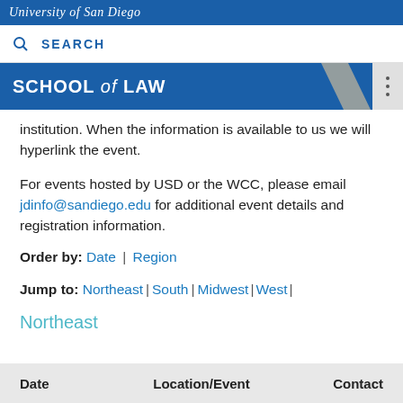University of San Diego
SEARCH
SCHOOL of LAW
institution. When the information is available to us we will hyperlink the event.
For events hosted by USD or the WCC, please email jdinfo@sandiego.edu for additional event details and registration information.
Order by: Date | Region
Jump to: Northeast | South | Midwest | West |
Northeast
| Date | Location/Event | Contact |
| --- | --- | --- |